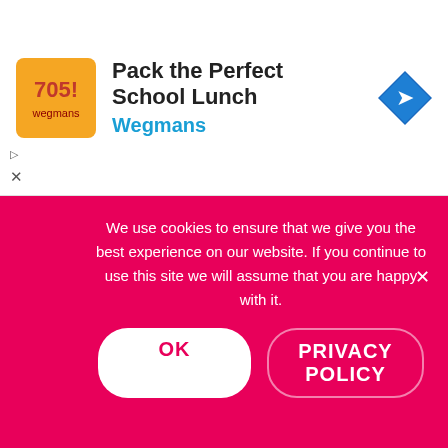[Figure (screenshot): Advertisement banner: Wegmans 'Pack the Perfect School Lunch' with logo and navigation arrow icon]
[Figure (infographic): Social sharing sidebar with share count 713 and icons for Facebook, Twitter, Pinterest, LinkedIn, Reddit]
discoveries allow them to experience the scientific process.
The course also helps them write numerals as well as go over basic counting, geometric shapes, addition, subtraction, skip counting, and how to tell the time. They also are...
We use cookies to ensure that we give you the best experience on our website. If you continue to use this site we will assume that you are happy with it.
OK    PRIVACY POLICY